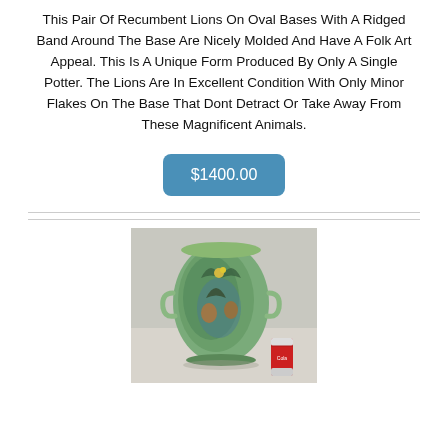This Pair Of Recumbent Lions On Oval Bases With A Ridged Band Around The Base Are Nicely Molded And Have A Folk Art Appeal. This Is A Unique Form Produced By Only A Single Potter. The Lions Are In Excellent Condition With Only Minor Flakes On The Base That Dont Detract Or Take Away From These Magnificent Animals.
$1400.00
[Figure (photo): Photo of a green ceramic vase with handles and floral relief decoration, with a soda can beside it for scale]